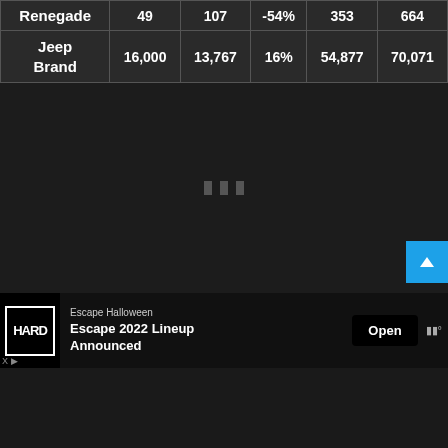| Renegade | 49 | 107 | -54% | 353 | 664 |
| Jeep Brand | 16,000 | 13,767 | 16% | 54,877 | 70,071 |
[Figure (other): Dark loading area with three small gray rectangular dots in the center, indicating content loading. A blue scroll-to-top button is in the bottom right corner.]
[Figure (other): Advertisement banner for HARD Events. Shows HARD logo on black background, text 'Escape Halloween' and 'Escape 2022 Lineup Announced', an 'Open' button, and Waze-like icon on right. X ad indicator in bottom left.]